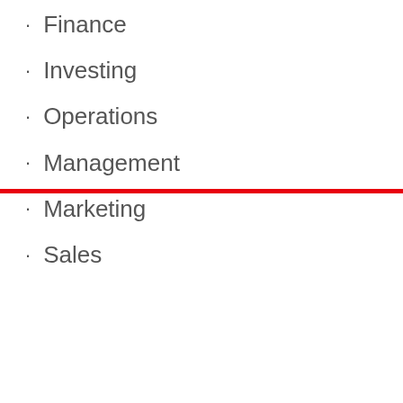Finance
Investing
Operations
Management
Marketing
Sales